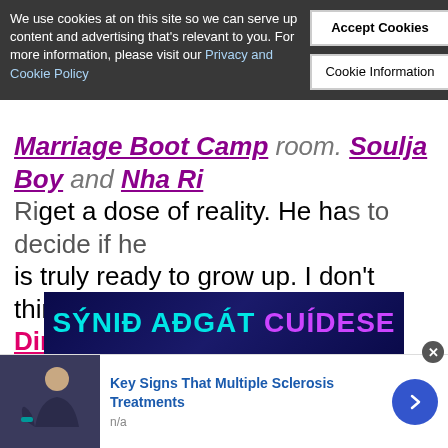We use cookies at on this site so we can serve up content and advertising that's relevant to you. For more information, please visit our Privacy and Cookie Policy
Accept Cookies
Cookie Information
Marriage Boot Camp room. Soulja Boy and Nha Ri get a dose of reality. He has to decide if he is truly ready to grow up. I don't think so! Jessica Dime and Shawne Williams feel like they are a work in progress. The judge doesn't think Waka has changed as much as he said. Tammy admits she still needs to work on her trust issues. She definitely has anger issues. Clearly a result of being hurt multiple times by her husband.
[Figure (other): Advertisement banner with teal/cyan and purple text reading SÝNIÐ AÐGÁT CUÍDESE on dark blue background]
Key Signs That Multiple Sclerosis Treatments
n/a